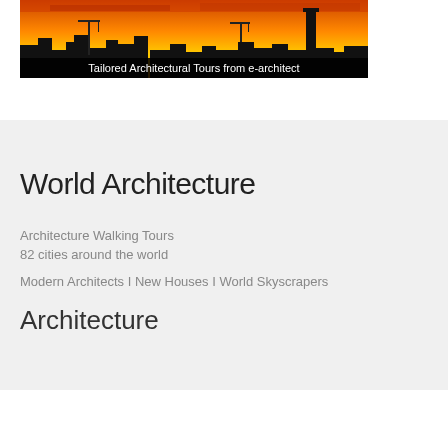[Figure (photo): City skyline silhouette at sunset with orange/yellow sky and construction cranes, with text overlay 'Tailored Architectural Tours from e-architect']
World Architecture
Architecture Walking Tours
82 cities around the world
Modern Architects I New Houses I World Skyscrapers
Architecture